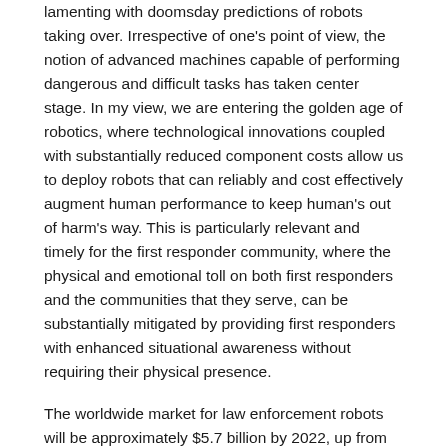lamenting with doomsday predictions of robots taking over. Irrespective of one's point of view, the notion of advanced machines capable of performing dangerous and difficult tasks has taken center stage. In my view, we are entering the golden age of robotics, where technological innovations coupled with substantially reduced component costs allow us to deploy robots that can reliably and cost effectively augment human performance to keep human's out of harm's way.  This is particularly relevant and timely for the first responder community, where the physical and emotional toll on both first responders and the communities that they serve, can be substantially mitigated by providing first responders with enhanced situational awareness without requiring their physical presence.
The worldwide market for law enforcement robots will be approximately $5.7 billion by 2022, up from $1 billion in 2015, according to Wintergreen Research estimates. That's a pretty significant increase. While robots have